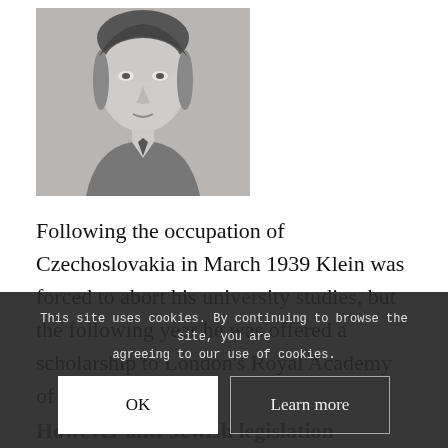[Figure (photo): Black and white portrait photograph of a young man in a suit and tie, facing forward, from approximately the 1930s–1940s era.]
Following the occupation of Czechoslovakia in March 1939 Klein was forced to abort his university studies, but the following year he was offered a scholarship to London's Royal Academy of Music.
However anti-Jewish legislation prevented his emigration and he was deported initially to the Terezin concentration camp – one of the first...
This site uses cookies. By continuing to browse the site, you are agreeing to our use of cookies.